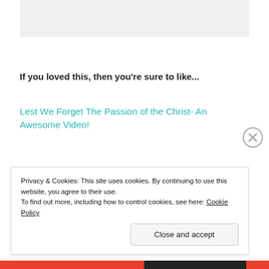[Figure (other): Gray image/content placeholder box at top of page]
If you loved this, then you're sure to like...
Lest We Forget The Passion of the Christ- An Awesome Video!
Privacy & Cookies: This site uses cookies. By continuing to use this website, you agree to their use.
To find out more, including how to control cookies, see here: Cookie Policy
Close and accept